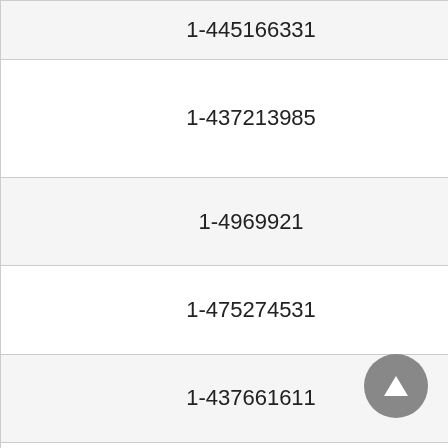| ID | Institution |
| --- | --- |
| 1-445166331 | Lsrg Institute Of Pharmac... |
| 1-437213985 | Ltjss's Priyadarshini J.L.Chaturvedi College Of Pharmacy (DIPLOMA). |
| 1-4969921 | M B E Society's College Of Engineering Ambajogai |
| 1-475274531 | M. D. Jadhav Institute Of Technology |
| 1-437661611 | M.A.B.D. Diploma College Of Pharmacy |
| 1-423130357 | M.B.S.P.M's College Of Pharmacy (D.PHARM)MAY... |
| 1-4369003 | M.C.E. S. Allana College Of Pharmacy |